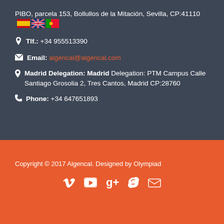PIBO, parcela 153, Bollullos de la Mitación, Sevilla, CP:41110
Tlf.: +34 955513390
Email: algencal@algencal.com
Madrid Delegation: Madrid Delegation: PTM Campus Calle Santiago Grosolia 2, Tres Cantos, Madrid CP:28760
Phone: +34 647651893
Copyright © 2017 Algencal. Designed by Olympiad
[Figure (infographic): Social media icons: Vimeo, YouTube, Google+, Skype, Email]